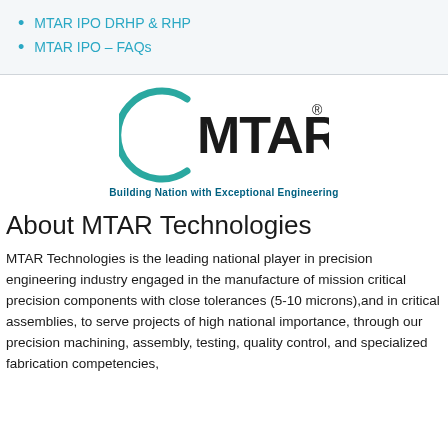MTAR IPO DRHP & RHP
MTAR IPO – FAQs
[Figure (logo): MTAR Technologies logo with teal crescent arc, bold black MTAR text with registered trademark symbol, and tagline 'Building Nation with Exceptional Engineering' in teal]
About MTAR Technologies
MTAR Technologies is the leading national player in precision engineering industry engaged in the manufacture of mission critical precision components with close tolerances (5-10 microns),and in critical assemblies, to serve projects of high national importance, through our precision machining, assembly, testing, quality control, and specialized fabrication competencies,